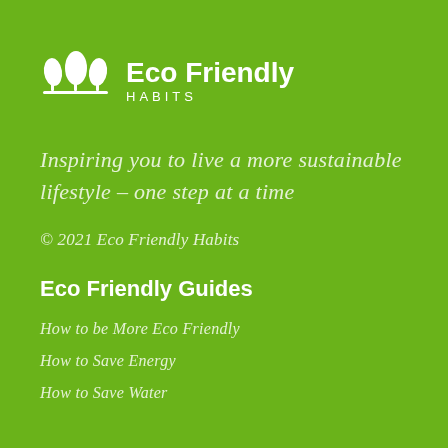[Figure (logo): Eco Friendly Habits logo with three white leaf/tree icons above a horizontal line, and text 'Eco Friendly HABITS']
Inspiring you to live a more sustainable lifestyle – one step at a time
© 2021 Eco Friendly Habits
Eco Friendly Guides
How to be More Eco Friendly
How to Save Energy
How to Save Water